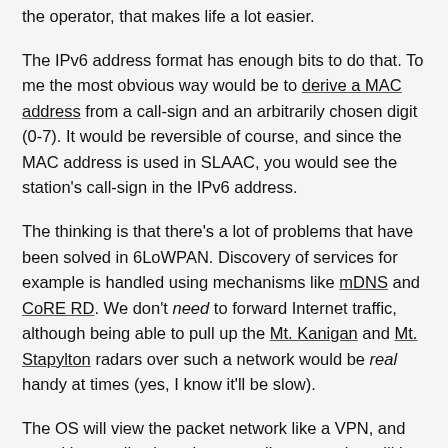the operator, that makes life a lot easier.
The IPv6 address format has enough bits to do that.  To me the most obvious way would be to derive a MAC address from a call-sign and an arbitrarily chosen digit (0-7).  It would be reversible of course, and since the MAC address is used in SLAAC, you would see the station's call-sign in the IPv6 address.
The thinking is that there's a lot of problems that have been solved in 6LoWPAN.  Discovery of services for example is handled using mechanisms like mDNS and CoRE RD.  We don't need to forward Internet traffic, although being able to pull up the Mt. Kanigan and Mt. Stapylton radars over such a network would be real handy at times (yes, I know it'll be slow).
The OS will view the packet network like a VPN, and so writing applications that can talk over packet will be no different to writing any other kind of network software. Any consumer desktop OS written in the last 16 years...